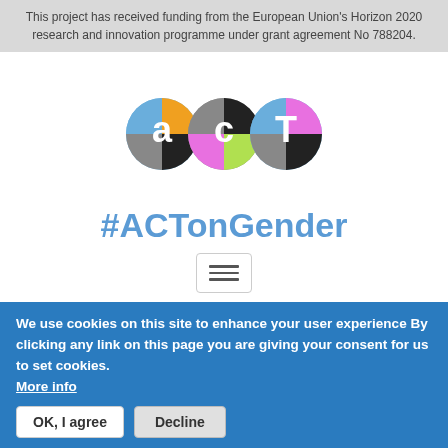This project has received funding from the European Union's Horizon 2020 research and innovation programme under grant agreement No 788204.
[Figure (logo): ACT project logo with three circular icons containing letters a, c, T in multicolored quadrant design (blue, orange, gray, black, pink, green)]
#ACTonGender
[Figure (other): Hamburger menu toggle button icon with three horizontal lines]
We use cookies on this site to enhance your user experience By clicking any link on this page you are giving your consent for us to set cookies. More info
OK, I agree   Decline